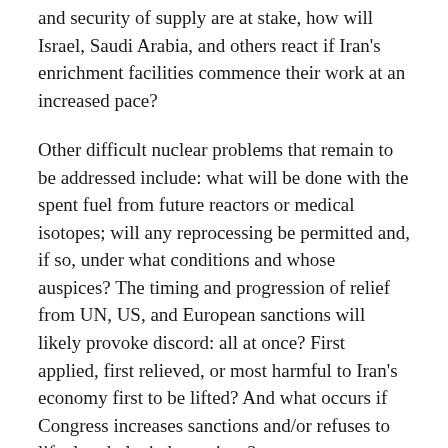and security of supply are at stake, how will Israel, Saudi Arabia, and others react if Iran's enrichment facilities commence their work at an increased pace?
Other difficult nuclear problems that remain to be addressed include: what will be done with the spent fuel from future reactors or medical isotopes; will any reprocessing be permitted and, if so, under what conditions and whose auspices? The timing and progression of relief from UN, US, and European sanctions will likely provoke discord: all at once? First applied, first relieved, or most harmful to Iran's economy first to be lifted? And what occurs if Congress increases sanctions and/or refuses to lift already levied sanctions?
In other words, Geneva was a magnificent